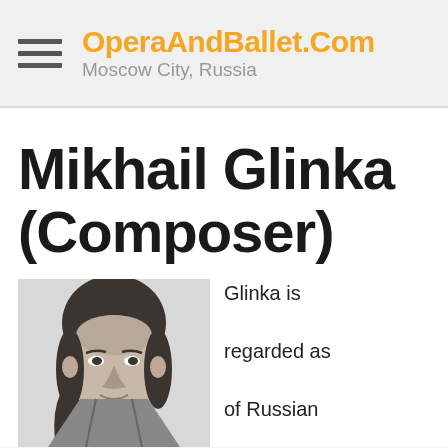OperaAndBallet.Com — Moscow City, Russia
Mikhail Glinka (Composer)
[Figure (photo): Black and white portrait photograph of Mikhail Glinka, a 19th century Russian composer, showing his face and hair.]
Glinka is regarded as of Russian